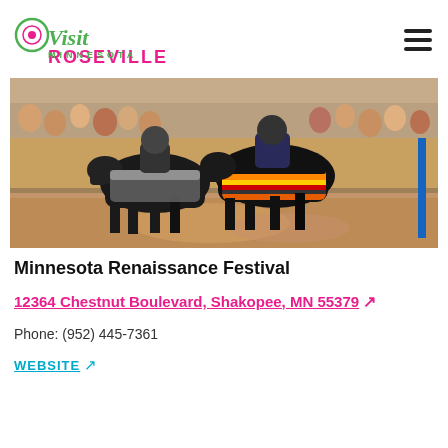[Figure (logo): Visit Roseville Minnesota logo with stylized Visit text in green script and ROSEVILLE in pink bold uppercase, MINNESOTA in green spaced letters below]
[Figure (photo): Two armored knights on horseback jousting at a Renaissance festival, horses in colorful caparisons, crowd watching in background, dusty arena]
Minnesota Renaissance Festival
12364 Chestnut Boulevard, Shakopee, MN 55379 ↗
Phone: (952) 445-7361
WEBSITE ↗